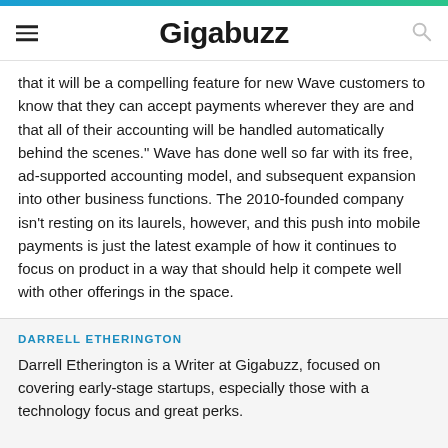Gigabuzz
that it will be a compelling feature for new Wave customers to know that they can accept payments wherever they are and that all of their accounting will be handled automatically behind the scenes." Wave has done well so far with its free, ad-supported accounting model, and subsequent expansion into other business functions. The 2010-founded company isn't resting on its laurels, however, and this push into mobile payments is just the latest example of how it continues to focus on product in a way that should help it compete well with other offerings in the space.
DARRELL ETHERINGTON
Darrell Etherington is a Writer at Gigabuzz, focused on covering early-stage startups, especially those with a technology focus and great perks.